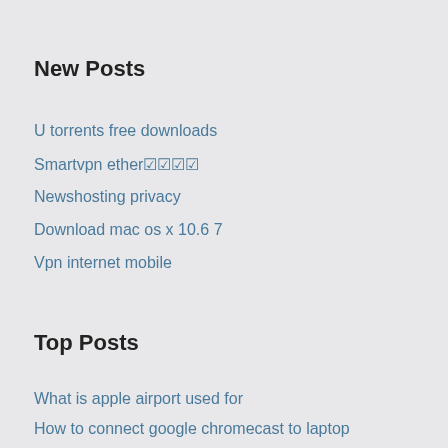New Posts
U torrents free downloads
Smartvpn ether☑☑☑☑
Newshosting privacy
Download mac os x 10.6 7
Vpn internet mobile
Top Posts
What is apple airport used for
How to connect google chromecast to laptop